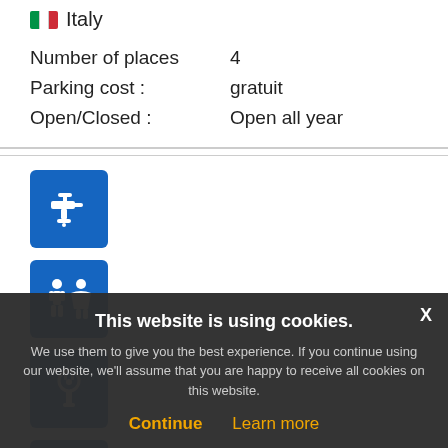[Figure (infographic): Italian flag icon followed by country name 'Italy']
Number of places    4
Parking cost :    gratuit
Open/Closed :    Open all year
[Figure (infographic): Blue icon with water tap/faucet symbol]
[Figure (infographic): Blue icon with male/female restroom symbols]
[Figure (infographic): Blue icon with electrical plug/outlet symbol]
[Figure (infographic): Blue icon with dog/pet allowed symbol]
[Figure (infographic): Dark icon with person figure symbol]
[Figure (infographic): Green icon partially visible]
This website is using cookies.
We use them to give you the best experience. If you continue using our website, we'll assume that you are happy to receive all cookies on this website.
Continue    Learn more